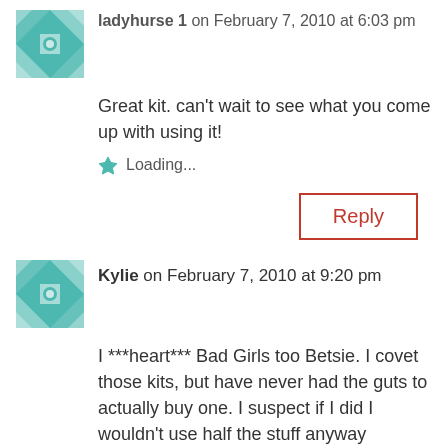ladyhurse 1 on February 7, 2010 at 6:03 pm
Great kit. can't wait to see what you come up with using it!
Loading...
Reply
Kylie on February 7, 2010 at 9:20 pm
I ***heart*** Bad Girls too Betsie. I covet those kits, but have never had the guts to actually buy one. I suspect if I did I wouldn't use half the stuff anyway because it would just be too pretty to part with.Your kit looks great. Maybe you should start a OSU kit swap? A kit we all make from our stash – maybe not with a technique (maybe with one). I'd be in!